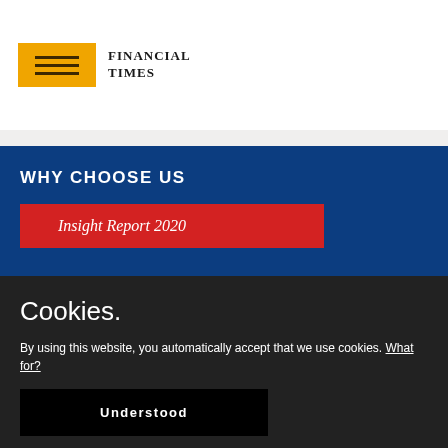[Figure (logo): Financial Times logo: gold/yellow rectangle with horizontal lines icon, followed by text FINANCIAL TIMES in bold serif font]
WHY CHOOSE US
Insight Report 2020
Cookies.
By using this website, you automatically accept that we use cookies. What for?
Understood